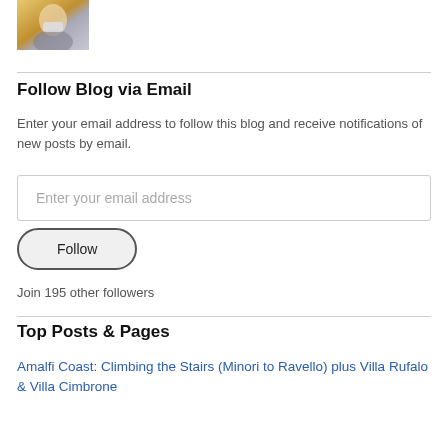[Figure (photo): Small profile photo of a person wearing a mask, partial view, yellowish/neutral background]
Follow Blog via Email
Enter your email address to follow this blog and receive notifications of new posts by email.
Enter your email address
Follow
Join 195 other followers
Top Posts & Pages
Amalfi Coast: Climbing the Stairs (Minori to Ravello) plus Villa Rufalo & Villa Cimbrone